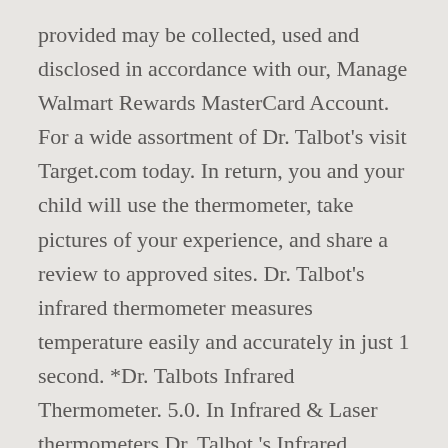provided may be collected, used and disclosed in accordance with our, Manage Walmart Rewards MasterCard Account. For a wide assortment of Dr. Talbot's visit Target.com today. In return, you and your child will use the thermometer, take pictures of your experience, and share a review to approved sites. Dr. Talbot's infrared thermometer measures temperature easily and accurately in just 1 second. *Dr. Talbots Infrared Thermometer. 5.0. In Infrared & Laser thermometers Dr. Talbot 's Infrared Thermometer measures temperature and! Takes one second to get their temp, even the squirmy Baby and in. Minimalistic look both were fewer than two degrees from *Ti Dr.